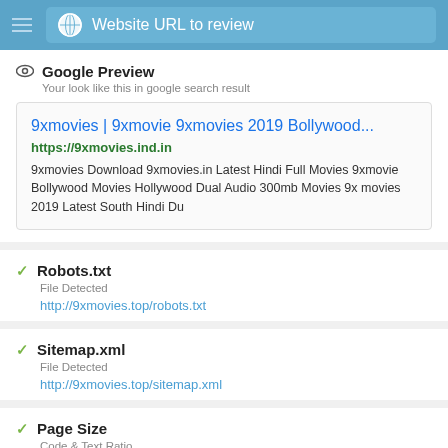Website URL to review
Google Preview
Your look like this in google search result
[Figure (screenshot): Google search result preview box showing title '9xmovies | 9xmovie 9xmovies 2019 Bollywood...', URL 'https://9xmovies.ind.in', and description text about downloading movies]
Robots.txt
File Detected
http://9xmovies.top/robots.txt
Sitemap.xml
File Detected
http://9xmovies.top/sitemap.xml
Page Size
Code & Text Ratio